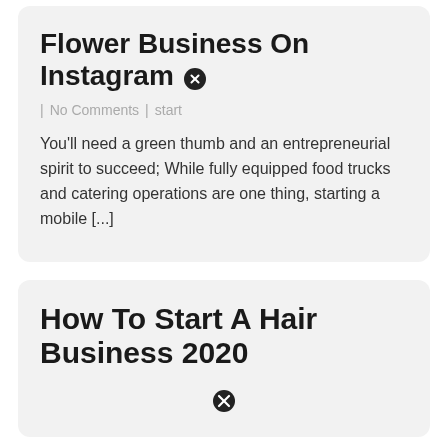Flower Business On Instagram
| No Comments | start
You'll need a green thumb and an entrepreneurial spirit to succeed; While fully equipped food trucks and catering operations are one thing, starting a mobile [...]
How To Start A Hair Business 2020